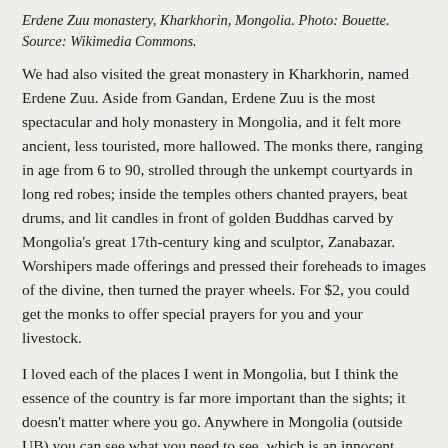Erdene Zuu monastery, Kharkhorin, Mongolia. Photo: Bouette. Source: Wikimedia Commons.
We had also visited the great monastery in Kharkhorin, named Erdene Zuu. Aside from Gandan, Erdene Zuu is the most spectacular and holy monastery in Mongolia, and it felt more ancient, less touristed, more hallowed. The monks there, ranging in age from 6 to 90, strolled through the unkempt courtyards in long red robes; inside the temples others chanted prayers, beat drums, and lit candles in front of golden Buddhas carved by Mongolia's great 17th-century king and sculptor, Zanabazar. Worshipers made offerings and pressed their foreheads to images of the divine, then turned the prayer wheels. For $2, you could get the monks to offer special prayers for you and your livestock.
I loved each of the places I went in Mongolia, but I think the essence of the country is far more important than the sights; it doesn't matter where you go. Anywhere in Mongolia (outside UB) you can see what you need to see, which is an innocent landscape and an immutable culture. Afterward, if you especially want to explore the Gobi or Khovsgol or find some yaks, you can go ahead and do that too. In China, the people take a curious nationalist pride in the idea that no one else will ever penetrate the complexity of their society. Russians believe that their despair is a state no Westerner can attain